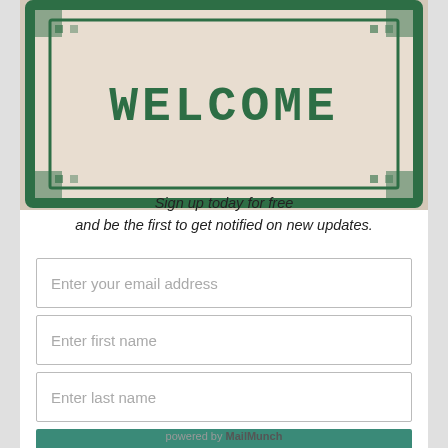[Figure (photo): Cross-stitch welcome mat with green 'WELCOME' text and decorative green border on a light pink/beige background]
Sign up today for free
and be the first to get notified on new updates.
Enter your email address
Enter first name
Enter last name
Subscribe
powered by MailMunch